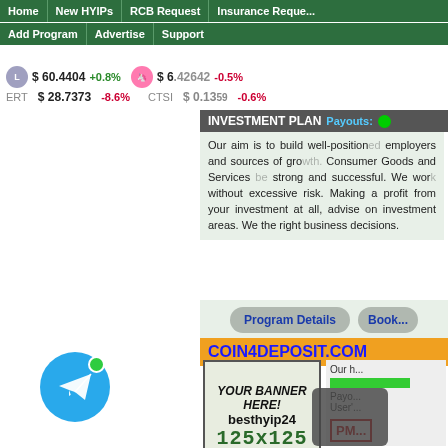Home | New HYIPs | RCB Request | Insurance Request | Add Program | Advertise | Support
$ 60.4404 +0.8% | $ 6.42642 -0.5% | ERT $ 28.7373 -8.6% | CTSI $ 0.1359 -0.6%
INVESTMENT PLAN Payouts: ...
Our aim is to build well-positioned employers and sources of growth. Consumer Goods and Services strong and successful. We work without excessive risk. Making a profit from your investment at all, advise on investment areas. We the right business decisions.
Program Details    Book...
COIN4DEPOSIT.COM
[Figure (other): Advertisement banner placeholder: YOUR BANNER HERE! besthyip24 125x125]
Our h... Payo... User'...
PM...
[Figure (logo): Telegram chat button - blue circle with paper plane icon and green online dot]